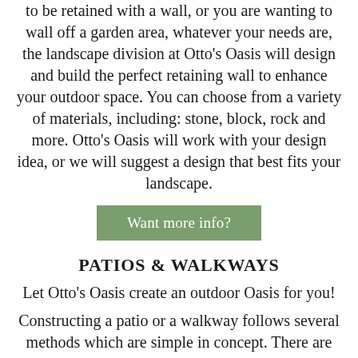to be retained with a wall, or you are wanting to wall off a garden area, whatever your needs are, the landscape division at Otto's Oasis will design and build the perfect retaining wall to enhance your outdoor space. You can choose from a variety of materials, including: stone, block, rock and more. Otto's Oasis will work with your design idea, or we will suggest a design that best fits your landscape.
Want more info?
PATIOS & WALKWAYS
Let Otto's Oasis create an outdoor Oasis for you!
Constructing a patio or a walkway follows several methods which are simple in concept. There are three basic steps. First we excavate existing soils in order to install a uniform, granular base. This will consist of different levels of compacted gravel and sand depending on the site conditions and intended